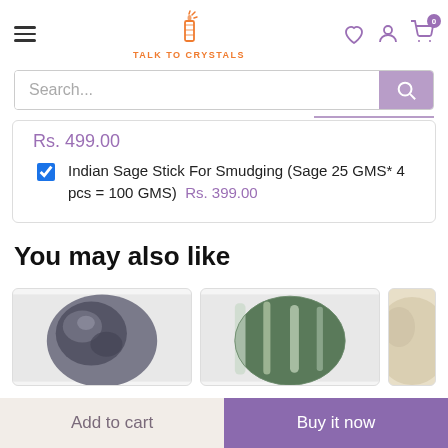[Figure (screenshot): Website header with hamburger menu, Talk To Crystals logo (candle icon), and nav icons (heart, user, cart with 0 badge)]
Search...
Rs. 499.00
Indian Sage Stick For Smudging (Sage 25 GMS* 4 pcs = 100 GMS)  Rs. 399.00
You may also like
[Figure (photo): Close-up photo of a dark crystal/mineral stone]
[Figure (photo): Close-up photo of a green striped stone (likely labradorite or similar)]
[Figure (photo): Partial view of a light-colored crystal product]
Add to cart
Buy it now